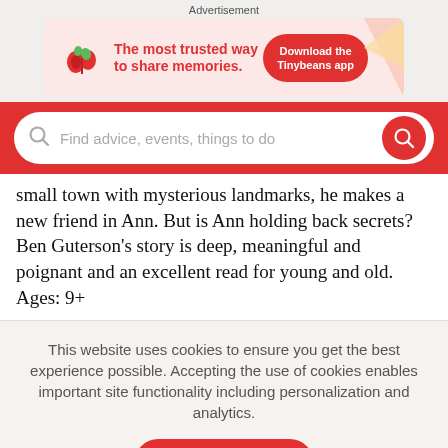Advertisement
[Figure (illustration): Tinybeans advertisement banner: red/pink background with plant icon, text 'The most trusted way to share memories.' and a red button 'Download the Tinybeans app']
[Figure (screenshot): Red search bar with placeholder text 'Find advice, events, things to do' and a red circular search button on the right]
small town with mysterious landmarks, he makes a new friend in Ann. But is Ann holding back secrets? Ben Guterson's story is deep, meaningful and poignant and an excellent read for young and old. Ages: 9+
This website uses cookies to ensure you get the best experience possible. Accepting the use of cookies enables important site functionality including personalization and analytics.
Accept
Decline